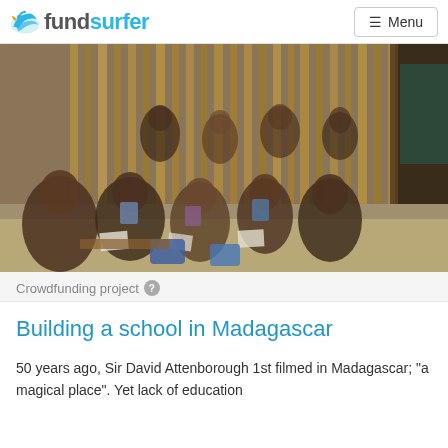fundsurfer | Menu
[Figure (photo): Children sitting on the dirt floor of a bamboo/wooden structure, appearing to be in a makeshift classroom in Madagascar. Several children are visible with papers/books.]
Crowdfunding project
Building a school in Madagascar
50 years ago, Sir David Attenborough 1st filmed in Madagascar; "a magical place". Yet lack of education